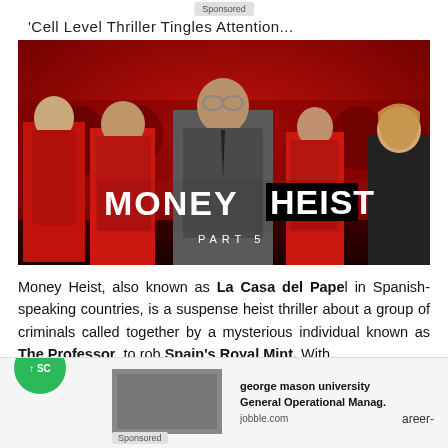Sponsored
'Cell Level Thriller Tingles Attention
[Figure (photo): Money Heist Part 5 promotional poster showing cast members in red suits against a red background, with the title 'MONEY HEIST PART 5' prominently displayed]
Money Heist, also known as La Casa del Papel in Spanish-speaking countries, is a suspense heist thriller about a group of criminals called together by a mysterious individual known as The Professor, to rob Spain's Royal Mint. With
[Figure (infographic): Bottom advertisement overlay showing: a green scroll-up button with 'SC', a thumbnail image, text 'george mason university General Operational Manag.' from jobble.com, and right side showing 'areer-']